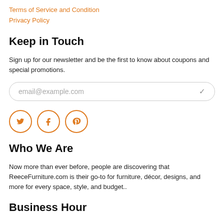Terms of Service and Condition
Privacy Policy
Keep in Touch
Sign up for our newsletter and be the first to know about coupons and special promotions.
email@example.com
[Figure (infographic): Three social media icons in orange circles: Twitter (bird), Facebook (f), Pinterest (P)]
Who We Are
Now more than ever before, people are discovering that ReeceFurniture.com is their go-to for furniture, décor, designs, and more for every space, style, and budget..
Business Hour